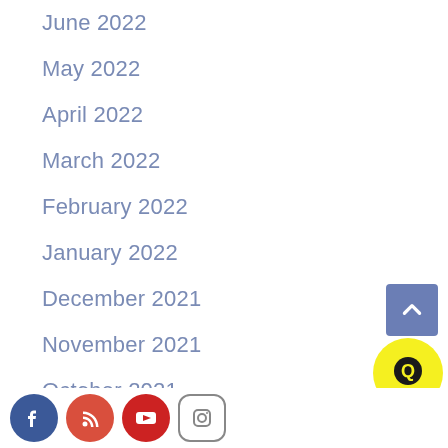June 2022
May 2022
April 2022
March 2022
February 2022
January 2022
December 2021
November 2021
October 2021
September 2021
[Figure (other): Back to top button - blue square with upward chevron arrow]
[Figure (other): Yellow circular chat/Q icon button]
Social media icons: Facebook, RSS feed, YouTube, Instagram